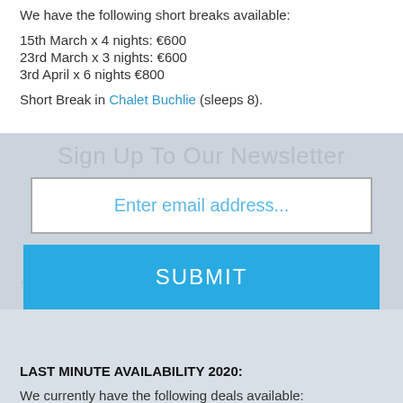We have the following short breaks available:
15th March x 4 nights: €600
23rd March x 3 nights: €600
3rd April x 6 nights €800
Short Break in Chalet Buchlie (sleeps 8).
Short Breaks in Chalet Des Coeurs (sleeps 12).
Sign Up To Our Newsletter
Enter email address...
SUBMIT
LAST MINUTE AVAILABILITY 2020:
We currently have the following deals available:
29th February x 7 days:
Trois Ours: €1400